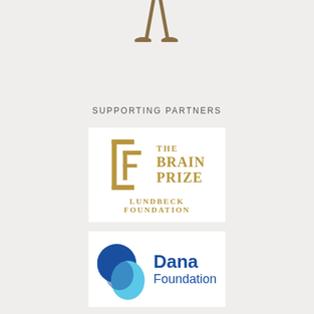[Figure (illustration): Partial illustration of a human figure (legs/feet) visible at the top center of the page on a light gray background]
SUPPORTING PARTNERS
[Figure (logo): The Brain Prize - Lundbeck Foundation logo: gold/tan colored stylized F-shaped bracket symbol on left, with 'THE BRAIN PRIZE' in gold serif text, and 'LUNDBECK FOUNDATION' in gold serif text below, on white background]
[Figure (logo): Dana Foundation logo: dark blue and light blue overlapping circular shapes forming a stylized 'D' symbol, with 'Dana Foundation' in blue text to the right, on white background]